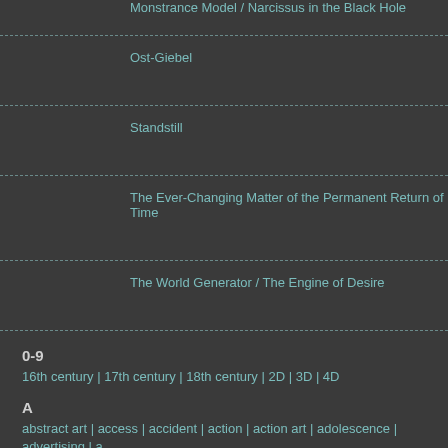Monstrance Model / Narcissus in the Black Hole
Ost-Giebel
Standstill
The Ever-Changing Matter of the Permanent Return of Time
The World Generator / The Engine of Desire
0-9
16th century | 17th century | 18th century | 2D | 3D | 4D
A
abstract art | access | accident | action | action art | adolescence | advertising | archaeology | architecture | archive | art education | art history | art system